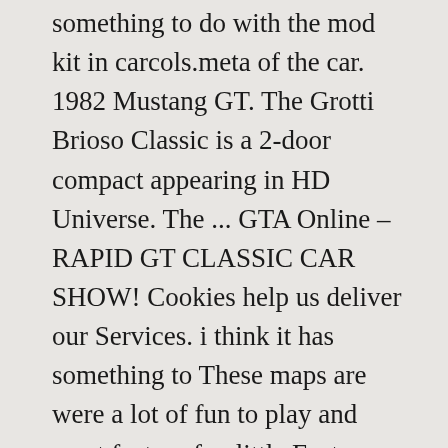something to do with the mod kit in carcols.meta of the car. 1982 Mustang GT. The Grotti Brioso Classic is a 2-door compact appearing in HD Universe. The ... GTA Online – RAPID GT CLASSIC CAR SHOW! Cookies help us deliver our Services. i think it has something to These maps are were a lot of fun to play and most feature fun little Easter Eggs within them. Thank you for watching this video. 4:56. New comments cannot be posted and votes cannot be cast. The front face of this car is comprised of a range of curves. Rear Wheel Drive. 1 ...
Over here on my channel I upload primarily Call of Duty because that is the game i love and play